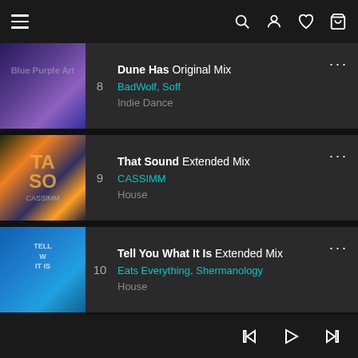Navigation bar with hamburger menu and icons: search, account, favorites, cart
8 — Dune Has Original Mix — BadWolf, Soff — Indie Dance
9 — That Sound Extended Mix — CASSIMM — House
10 — Tell You What It Is Extended Mix — Eats Everything, Shermanology — House
Media player controls: previous, play, next